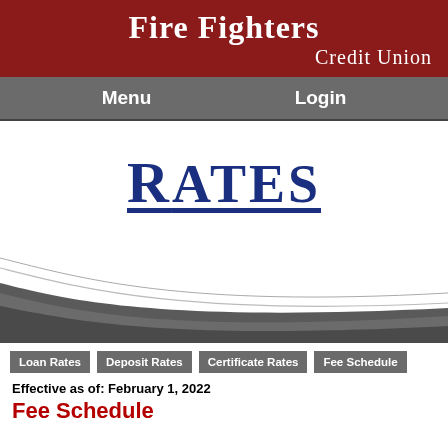Fire Fighters Credit Union
Menu  Login
RATES
[Figure (illustration): Decorative swoosh/wave graphic with dark grey curved bands sweeping across the lower portion of the content area]
Loan Rates  Deposit Rates  Certificate Rates  Fee Schedule
Effective as of: February 1, 2022
Fee Schedule